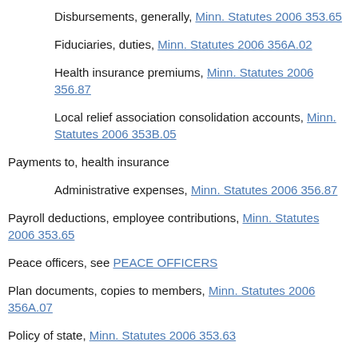Disbursements, generally, Minn. Statutes 2006 353.65
Fiduciaries, duties, Minn. Statutes 2006 356A.02
Health insurance premiums, Minn. Statutes 2006 356.87
Local relief association consolidation accounts, Minn. Statutes 2006 353B.05
Payments to, health insurance
Administrative expenses, Minn. Statutes 2006 356.87
Payroll deductions, employee contributions, Minn. Statutes 2006 353.65
Peace officers, see PEACE OFFICERS
Plan documents, copies to members, Minn. Statutes 2006 356A.07
Policy of state, Minn. Statutes 2006 353.63
Portability with other retirement plans